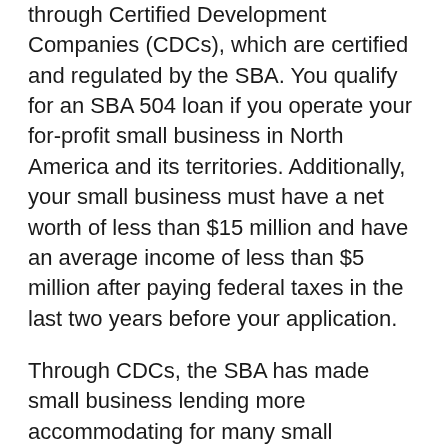through Certified Development Companies (CDCs), which are certified and regulated by the SBA. You qualify for an SBA 504 loan if you operate your for-profit small business in North America and its territories. Additionally, your small business must have a net worth of less than $15 million and have an average income of less than $5 million after paying federal taxes in the last two years before your application.
Through CDCs, the SBA has made small business lending more accommodating for many small businesses. In 2018, the average amount for loans backed by SBA was $107,000. SBA 504 loans allow you to buy major fixed assets that stimulate business growth and enable you to create more jobs.
Once you get your SBA loan, you can use the